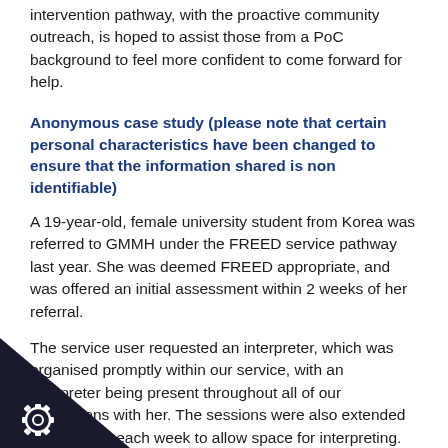intervention pathway, with the proactive community outreach, is hoped to assist those from a PoC background to feel more confident to come forward for help.
Anonymous case study (please note that certain personal characteristics have been changed to ensure that the information shared is non identifiable)
A 19-year-old, female university student from Korea was referred to GMMH under the FREED service pathway last year. She was deemed FREED appropriate, and was offered an initial assessment within 2 weeks of her referral.
The service user requested an interpreter, which was organised promptly within our service, with an interpreter being present throughout all of our interactions with her. The sessions were also extended to 1.5 hours each week to allow space for interpreting.
essment, she presented with eating difficulties